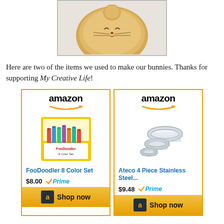[Figure (photo): A round, golden-tan felted wool bunny/cat toy with embroidered face features, photographed against a light background, shown from above.]
Here are two of the items we used to make our bunnies. Thanks for supporting My Creative Life!
[Figure (other): Two Amazon product advertisement widgets side by side. Left: FooDoodler 8 Color Set at $8.00 with Prime. Right: Ateco 4 Piece Stainless Steel... at $9.48 with Prime. Both have Shop now buttons.]